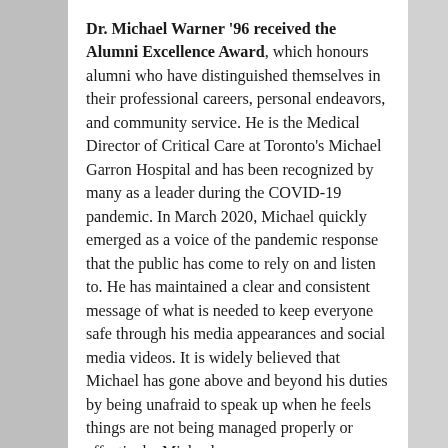Dr. Michael Warner '96 received the Alumni Excellence Award, which honours alumni who have distinguished themselves in their professional careers, personal endeavors, and community service. He is the Medical Director of Critical Care at Toronto's Michael Garron Hospital and has been recognized by many as a leader during the COVID-19 pandemic. In March 2020, Michael quickly emerged as a voice of the pandemic response that the public has come to rely on and listen to. He has maintained a clear and consistent message of what is needed to keep everyone safe through his media appearances and social media videos. It is widely believed that Michael has gone above and beyond his duties by being unafraid to speak up when he feels things are not being managed properly or effectively. Michael was